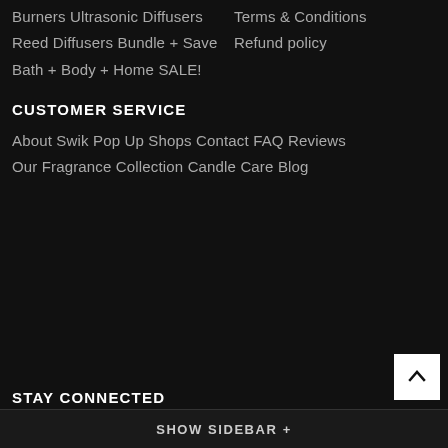Burners
Ultrasonic Diffusers
Reed Diffusers
Bundle + Save
Bath + Body + Home
SALE!
Terms & Conditions
Refund policy
CUSTOMER SERVICE
About Swik
Pop Up Shops
Contact
FAQ
Reviews
Our Fragrance Collection
Candle Care
Blog
STAY CONNECTED
SHOW SIDEBAR +